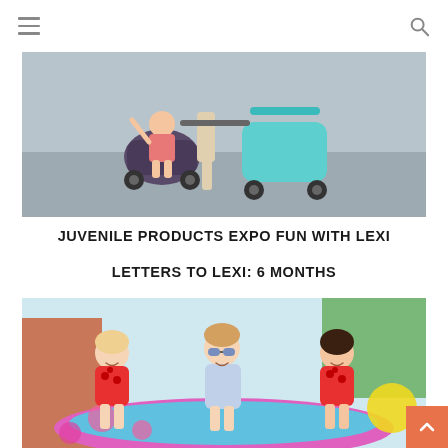Navigation menu and search icon
[Figure (photo): A woman pushing two strollers/prams side by side on a paved outdoor area. A young child is sitting in one of the strollers, with an arm raised. The strollers are dark and teal colored.]
JUVENILE PRODUCTS EXPO FUN WITH LEXI
LETTERS TO LEXI: 6 MONTHS
[Figure (photo): Three young girls in matching strawberry-print red swimsuits smiling at the camera. The middle girl is wearing sunglasses. They are outdoors near colorful inflatable pool toys.]